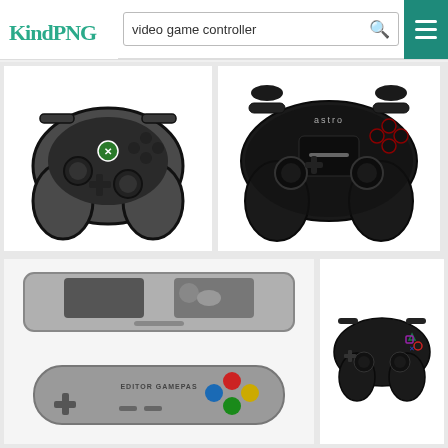KindPNG — video game controller search page
[Figure (illustration): Xbox One controller illustration in dark gray with outlined style, white Xbox logo button, d-pad, analog sticks, bumpers and triggers]
[Figure (photo): Astro gaming controller in black carbon fiber texture with red accent buttons, PlayStation layout, Astro logo on top]
[Figure (illustration): SNES-style retro gaming controller top view (gray body) and SNES gamepad with colored buttons (blue, green, red, yellow), d-pad, and EDITOR GAMEPAS branding]
[Figure (illustration): PlayStation 2/3 style controller illustration in black with colored face buttons (triangle, circle, cross, square) and analog sticks]